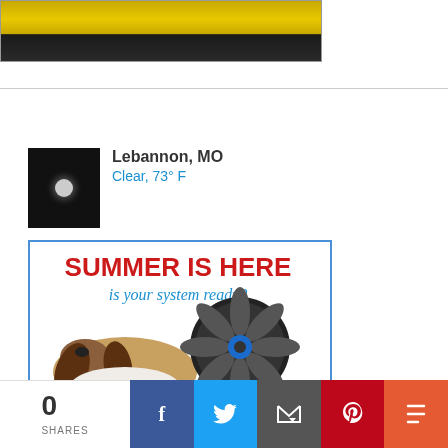[Figure (illustration): Gold and black banner/logo strip at top]
[Figure (illustration): Weather widget showing night sky icon, city Lebannon MO, Clear 73F]
Lebannon, MO
Clear, 73° F
[Figure (illustration): Henderson Heating & Cooling advertisement: SUMMER IS HERE is your system ready? with basset hound, fan, service van. Henderson Heating & Cooling since 1958. (417) 532-2779]
0
SHARES
[Figure (infographic): Social sharing bar with Facebook, Twitter, Email, Pinterest, More buttons]